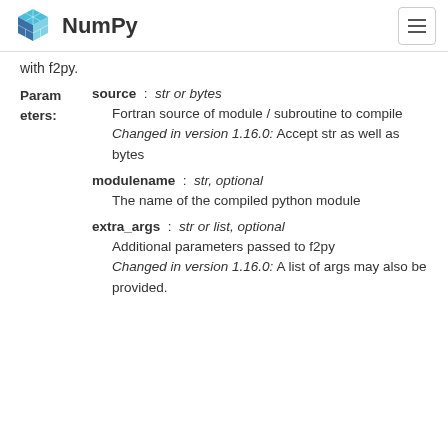NumPy
with f2py.
Parameters: source : str or bytes
Fortran source of module / subroutine to compile
Changed in version 1.16.0: Accept str as well as bytes

modulename : str, optional
The name of the compiled python module

extra_args : str or list, optional
Additional parameters passed to f2py
Changed in version 1.16.0: A list of args may also be provided.